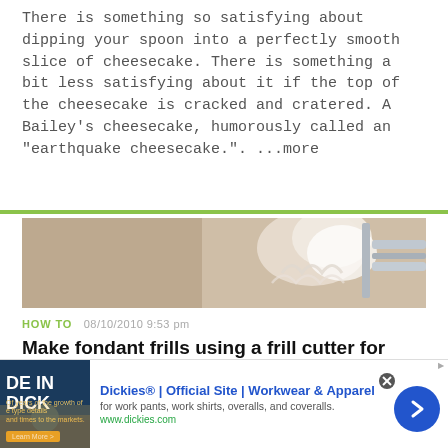There is something so satisfying about dipping your spoon into a perfectly smooth slice of cheesecake. There is something a bit less satisfying about it if the top of the cheesecake is cracked and cratered. A Bailey's cheesecake, humorously called an "earthquake cheesecake.". ...more
[Figure (photo): Close-up photo of fondant frills being made, showing a decorating tool/press with cream-colored fondant]
HOW TO   08/10/2010 9:53 pm
Make fondant frills using a frill cutter for cake decorating
Fondant frills are magical cake trims that resemble frilly lace and pretty ruffles. On cakes and cupcakes, they can be
[Figure (screenshot): Advertisement banner for Dickies workwear. Shows Dickies logo image on left, ad title 'Dickies® | Official Site | Workwear & Apparel', description 'for work pants, work shirts, overalls, and coveralls.', URL www.dickies.com, and a blue circular arrow button on right.]